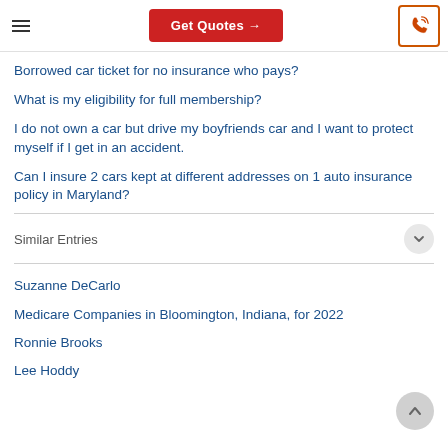Get Quotes →
Borrowed car ticket for no insurance who pays?
What is my eligibility for full membership?
I do not own a car but drive my boyfriends car and I want to protect myself if I get in an accident.
Can I insure 2 cars kept at different addresses on 1 auto insurance policy in Maryland?
Similar Entries
Suzanne DeCarlo
Medicare Companies in Bloomington, Indiana, for 2022
Ronnie Brooks
Lee Hoddy